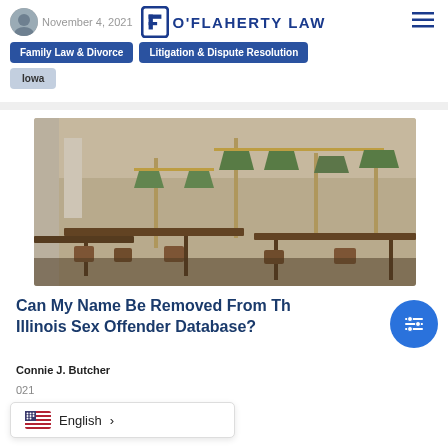O'Flaherty Law — November 4, 2021
Family Law & Divorce
Litigation & Dispute Resolution
Iowa
[Figure (photo): Library reading room with wooden tables, chairs, and green banker's lamps on brass stands]
Can My Name Be Removed From The Illinois Sex Offender Database?
Connie J. Butcher
021
English